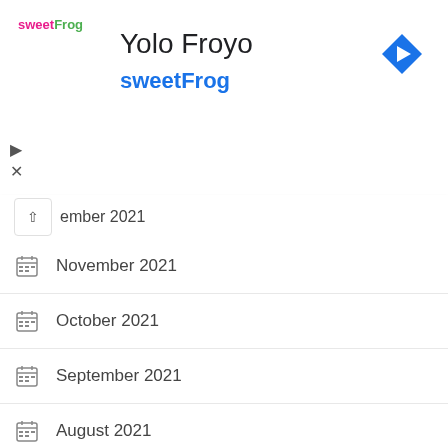Yolo Froyo
sweetFrog
November 2021
October 2021
September 2021
August 2021
June 2021
May 2021
April 2021
March 2021
February 2021